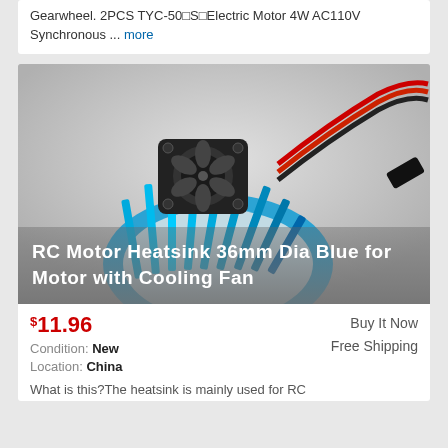Gearwheel. 2PCS TYC-50□S□Electric Motor 4W AC110V Synchronous ... more
[Figure (photo): RC Motor Heatsink 36mm Dia Blue aluminum heat sink with cooling fan attached, red and black wires with connector]
RC Motor Heatsink 36mm Dia Blue for Motor with Cooling Fan
$11.96
Buy It Now
Free Shipping
Condition: New
Location: China
What is this?The heatsink is mainly used for RC